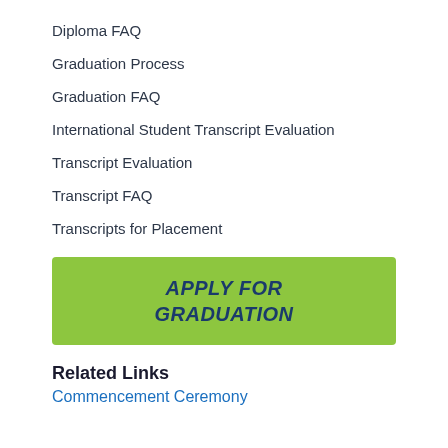Diploma FAQ
Graduation Process
Graduation FAQ
International Student Transcript Evaluation
Transcript Evaluation
Transcript FAQ
Transcripts for Placement
[Figure (other): Green button with text APPLY FOR GRADUATION in dark blue bold italic capitals]
Related Links
Commencement Ceremony